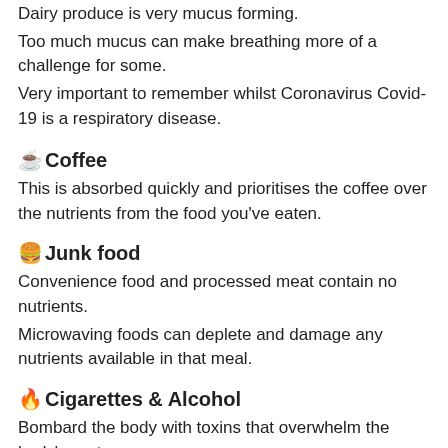Dairy produce is very mucus forming. Too much mucus can make breathing more of a challenge for some. Very important to remember whilst Coronavirus Covid-19 is a respiratory disease.
☕Coffee
This is absorbed quickly and prioritises the coffee over the nutrients from the food you've eaten.
🍔Junk food
Convenience food and processed meat contain no nutrients. Microwaving foods can deplete and damage any nutrients available in that meal.
🔥Cigarettes & Alcohol
Bombard the body with toxins that overwhelm the body's systems. As a result they impair the immune system rather than support it.